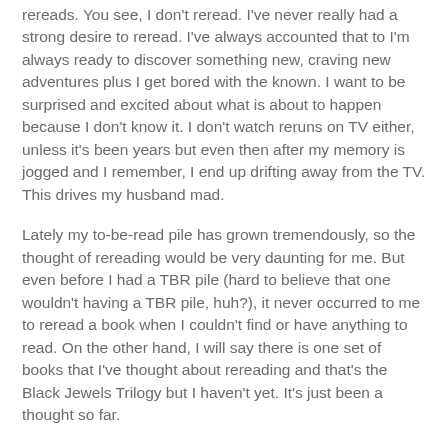rereads. You see, I don't reread. I've never really had a strong desire to reread. I've always accounted that to I'm always ready to discover something new, craving new adventures plus I get bored with the known. I want to be surprised and excited about what is about to happen because I don't know it. I don't watch reruns on TV either, unless it's been years but even then after my memory is jogged and I remember, I end up drifting away from the TV. This drives my husband mad.
Lately my to-be-read pile has grown tremendously, so the thought of rereading would be very daunting for me. But even before I had a TBR pile (hard to believe that one wouldn't having a TBR pile, huh?), it never occurred to me to reread a book when I couldn't find or have anything to read. On the other hand, I will say there is one set of books that I've thought about rereading and that's the Black Jewels Trilogy but I haven't yet. It's just been a thought so far.
You want to know something else? I have keeper shelves. Now, what kind of sense does that make? None, what so ever!